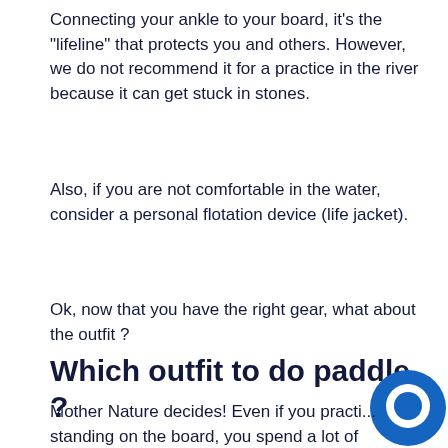Connecting your ankle to your board, it's the "lifeline" that protects you and others. However, we do not recommend it for a practice in the river because it can get stuck in stones.
Also, if you are not comfortable in the water, consider a personal flotation device (life jacket).
Ok, now that you have the right gear, what about the outfit ?
Which outfit to do paddle ?
[Figure (illustration): Blue circular chat/message bubble icon in bottom-right area]
Mother Nature decides! Even if you practi... standing on the board, you spend a lot of